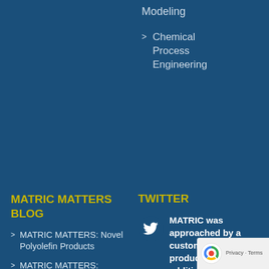Modeling
Chemical Process Engineering
MATRIC MATTERS BLOG
TWITTER
MATRIC MATTERS: Novel Polyolefin Products
MATRIC MATTERS: Renewable Fuel Additive
MATRIC MATTERS: Process Simulation, Reactive Distillation
MATRIC was approached by a customer for production of a #fuel additive derived from #biomass. See how a conceptual… twitter.com/i/ 2 weeks ago